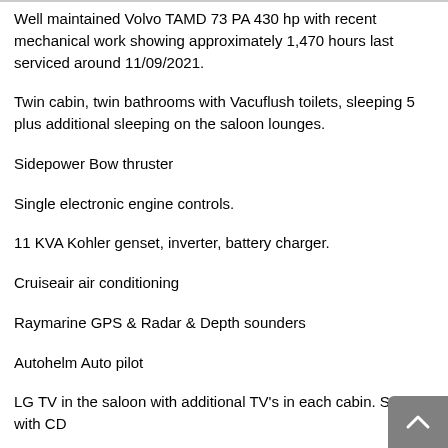Well maintained Volvo TAMD 73 PA 430 hp with recent mechanical work showing approximately 1,470 hours last serviced around 11/09/2021.
Twin cabin, twin bathrooms with Vacuflush toilets, sleeping 5 plus additional sleeping on the saloon lounges.
Sidepower Bow thruster
Single electronic engine controls.
11 KVA Kohler genset, inverter, battery charger.
Cruiseair air conditioning
Raymarine GPS & Radar & Depth sounders
Autohelm Auto pilot
LG TV in the saloon with additional TV's in each cabin. Stereo with CD